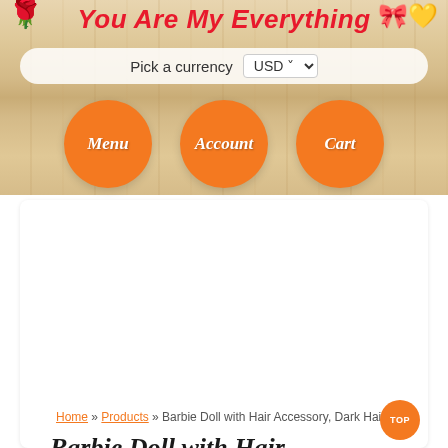You Are My Everything
Pick a currency USD
Menu | Account | Cart
Home » Products » Barbie Doll with Hair Accessory, Dark Hair
Barbie Doll with Hair Accessory, Dark Hair
[Figure (photo): Barbie Doll with Hair Accessory Dark Hair product box showing two dark-haired Barbie dolls with pink accessories and hair styling tools on a yellow striped background]